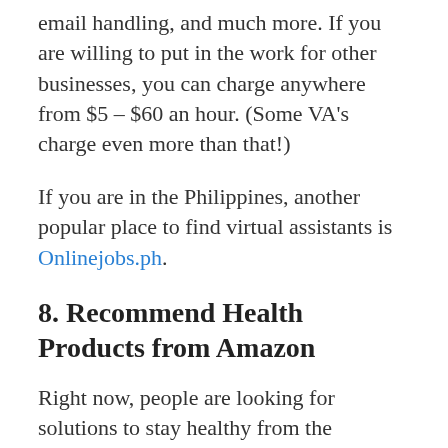email handling, and much more. If you are willing to put in the work for other businesses, you can charge anywhere from $5 – $60 an hour. (Some VA's charge even more than that!)
If you are in the Philippines, another popular place to find virtual assistants is Onlinejobs.ph.
8. Recommend Health Products from Amazon
Right now, people are looking for solutions to stay healthy from the Coronavirus. You can make money by providing useful information to your network of friends